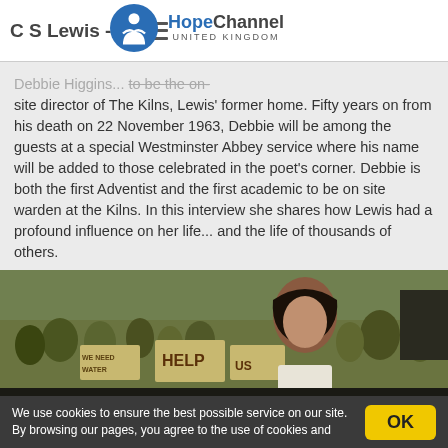C S Lewis - 50th aniversary of his death
[Figure (logo): Hope Channel United Kingdom logo with stylized person icon]
Debbie Higgins ... she is the on-site director of The Kilns, Lewis' former home. Fifty years on from his death on 22 November 1963, Debbie will be among the guests at a special Westminster Abbey service where his name will be added to those celebrated in the poet's corner. Debbie is both the first Adventist and the first academic to be on site warden at the Kilns. In this interview she shares how Lewis had a profound influence on her life... and the life of thousands of others.
[Figure (photo): A woman in the foreground with a group of people behind her holding signs that read HELP and WE NEED WATER, outdoors in a village setting]
We use cookies to ensure the best possible service on our site. By browsing our pages, you agree to the use of cookies and